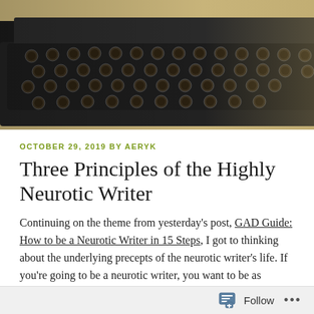[Figure (photo): A vintage black typewriter with round keys sits on a light surface, with crumpled paper balls and a pair of glasses visible in the background]
OCTOBER 29, 2019 BY AERYK
Three Principles of the Highly Neurotic Writer
Continuing on the theme from yesterday's post, GAD Guide: How to be a Neurotic Writer in 15 Steps, I got to thinking about the underlying precepts of the neurotic writer's life. If you're going to be a neurotic writer, you want to be as uptight